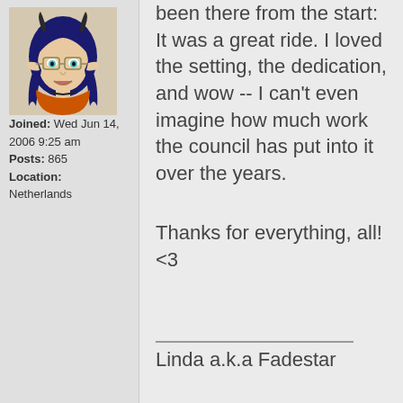[Figure (illustration): Avatar illustration of a female fantasy character with blue hair, elf-like ears, horns, and an orange scarf/collar.]
Joined: Wed Jun 14, 2006 9:25 am
Posts: 865
Location: Netherlands
been there from the start: It was a great ride. I loved the setting, the dedication, and wow -- I can't even imagine how much work the council has put into it over the years.
Thanks for everything, all! <3
Linda a.k.a Fadestar